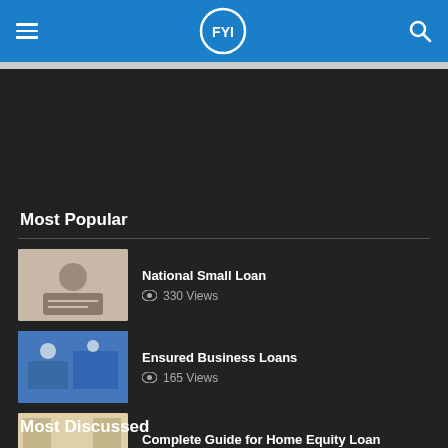FYI
Most Popular
National Small Loan
330 Views
Ensured Business Loans
165 Views
Complete Guide for Home Equity Loan
189 Views
Most Discussed